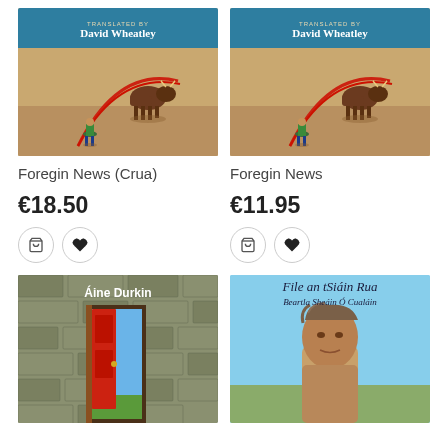[Figure (illustration): Book cover for 'Foregin News (Crua)' - teal header with 'Translated by David Wheatley', bullfighting scene with bull and matador on sandy ground with red cape]
[Figure (illustration): Book cover for 'Foregin News' - teal header with 'Translated by David Wheatley', same bullfighting scene]
Foregin News (Crua)
Foregin News
€18.50
€11.95
[Figure (illustration): Book cover with author 'Áine Durkin', stone wall background with open red door showing blue sky]
[Figure (illustration): Book cover 'File an tSiáin Rua' by 'Beartla Sheáin Ó Cualáin', photo of elderly man against blue sky background]